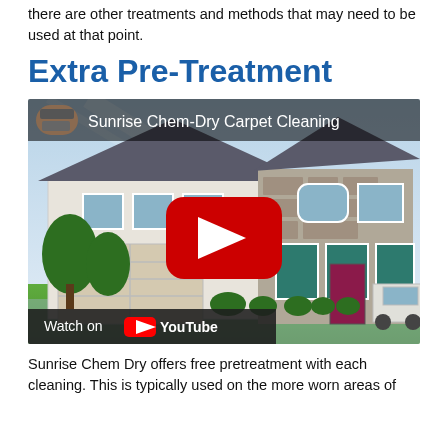there are other treatments and methods that may need to be used at that point.
Extra Pre-Treatment
[Figure (screenshot): YouTube video thumbnail showing an animated house illustration for Sunrise Chem-Dry Carpet Cleaning, with a red YouTube play button overlay and 'Watch on YouTube' bar at the bottom.]
Sunrise Chem Dry offers free pretreatment with each cleaning. This is typically used on the more worn areas of